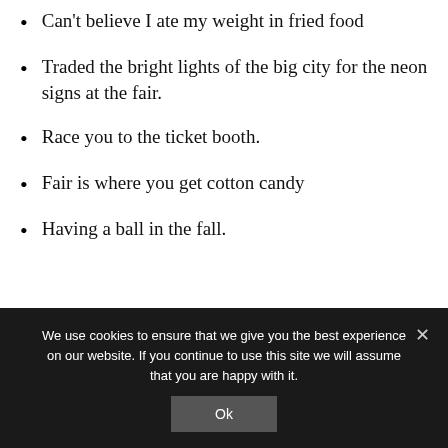Can't believe I ate my weight in fried food
Traded the bright lights of the big city for the neon signs at the fair.
Race you to the ticket booth.
Fair is where you get cotton candy
Having a ball in the fall.
We use cookies to ensure that we give you the best experience on our website. If you continue to use this site we will assume that you are happy with it.